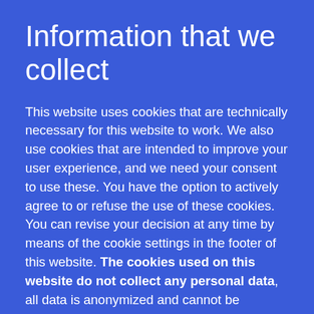Information that we collect
This website uses cookies that are technically necessary for this website to work. We also use cookies that are intended to improve your user experience, and we need your consent to use these. You have the option to actively agree to or refuse the use of these cookies. You can revise your decision at any time by means of the cookie settings in the footer of this website. The cookies used on this website do not collect any personal data, all data is anonymized and cannot be attributed to you as a person. We use Google Analytics to analyze user behavior on our website and to optimize the user experience based on those results. With Leadfeeder we collect the behavioral data of our website visitors. Anonymized IP addresses are used to determine the company and the geographic location of the website